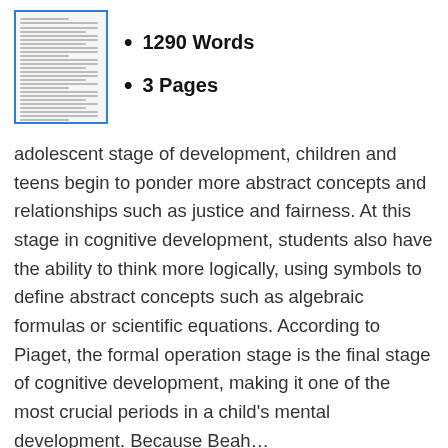[Figure (illustration): Thumbnail image of a document page with small text lines]
1290 Words
3 Pages
adolescent stage of development, children and teens begin to ponder more abstract concepts and relationships such as justice and fairness. At this stage in cognitive development, students also have the ability to think more logically, using symbols to define abstract concepts such as algebraic formulas or scientific equations. According to Piaget, the formal operation stage is the final stage of cognitive development, making it one of the most crucial periods in a child's mental development. Because Beah...